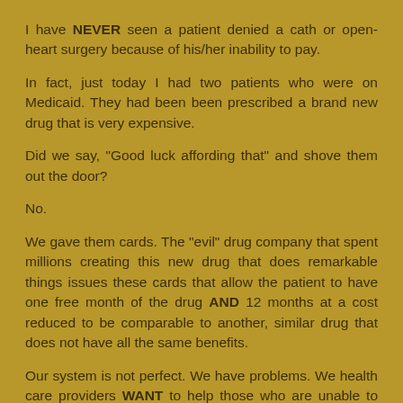I have NEVER seen a patient denied a cath or open-heart surgery because of his/her inability to pay.
In fact, just today I had two patients who were on Medicaid. They had been been prescribed a brand new drug that is very expensive.
Did we say, "Good luck affording that" and shove them out the door?
No.
We gave them cards. The "evil" drug company that spent millions creating this new drug that does remarkable things issues these cards that allow the patient to have one free month of the drug AND 12 months at a cost reduced to be comparable to another, similar drug that does not have all the same benefits.
Our system is not perfect. We have problems. We health care providers WANT to help those who are unable to afford things.